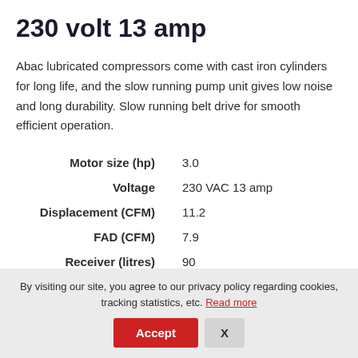230 volt 13 amp
Abac lubricated compressors come with cast iron cylinders for long life, and the slow running pump unit gives low noise and long durability. Slow running belt drive for smooth efficient operation.
| Specification | Value |
| --- | --- |
| Motor size (hp) | 3.0 |
| Voltage | 230 VAC 13 amp |
| Displacement (CFM) | 11.2 |
| FAD (CFM) | 7.9 |
| Receiver (litres) | 90 |
By visiting our site, you agree to our privacy policy regarding cookies, tracking statistics, etc. Read more
Accept  X